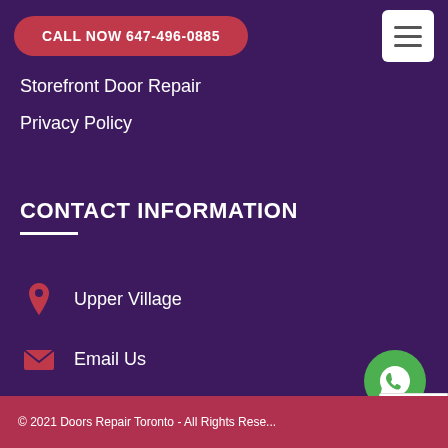CALL NOW 647-496-0885
Storefront Door Repair
Privacy Policy
CONTACT INFORMATION
Upper Village
Email Us
647-496-0885
© 2021 Doors Repair Toronto - All Rights Rese... ERROR for Invalid do...